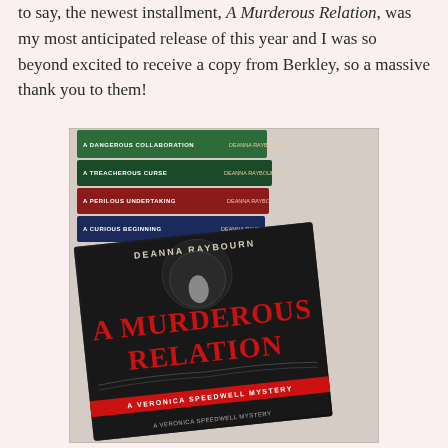to say, the newest installment, A Murderous Relation, was my most anticipated release of this year and I was so beyond excited to receive a copy from Berkley, so a massive thank you to them!
[Figure (photo): Photo of a stack of Veronica Speedwell mystery books by Deanna Raybourn, with A Murderous Relation lying flat in front displaying its cover. Other books in the stack include A Dangerous Collaboration, A Treacherous Curse, A Perilous Undertaking, and A Curious Beginning.]